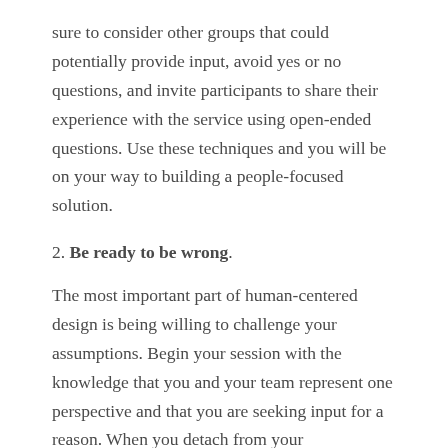sure to consider other groups that could potentially provide input, avoid yes or no questions, and invite participants to share their experience with the service using open-ended questions. Use these techniques and you will be on your way to building a people-focused solution.
2. Be ready to be wrong.
The most important part of human-centered design is being willing to challenge your assumptions. Begin your session with the knowledge that you and your team represent one perspective and that you are seeking input for a reason. When you detach from your assumptions, you will be much more likely to